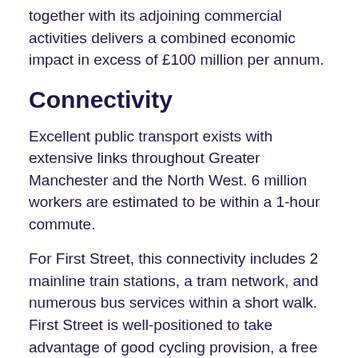together with its adjoining commercial activities delivers a combined economic impact in excess of £100 million per annum.
Connectivity
Excellent public transport exists with extensive links throughout Greater Manchester and the North West. 6 million workers are estimated to be within a 1-hour commute.
For First Street, this connectivity includes 2 mainline train stations, a tram network, and numerous bus services within a short walk. First Street is well-positioned to take advantage of good cycling provision, a free shuttle bus, and access to the motorway and road network.